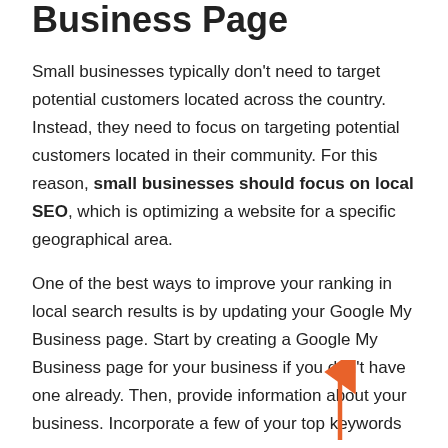Business Page
Small businesses typically don't need to target potential customers located across the country. Instead, they need to focus on targeting potential customers located in their community. For this reason, small businesses should focus on local SEO, which is optimizing a website for a specific geographical area.
One of the best ways to improve your ranking in local search results is by updating your Google My Business page. Start by creating a Google My Business page for your business if you don't have one already. Then, provide information about your business. Incorporate a few of your top keywords
[Figure (illustration): An orange upward-pointing arrow overlaid on the text, pointing upward diagonally]